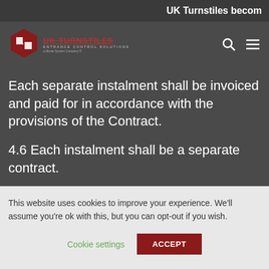UK Turnstiles becom
[Figure (logo): UK Turnstiles logo with hexagon icon and text 'UK TURNSTILES ENTRANCE CONTROL SOLUTIONS']
Each separate instalment shall be invoiced and paid for in accordance with the provisions of the Contract.
4.6 Each instalment shall be a separate contract.
This website uses cookies to improve your experience. We'll assume you're ok with this, but you can opt-out if you wish.
Cookie settings
ACCEPT